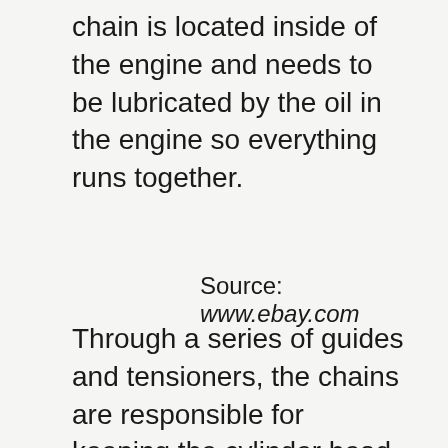chain is located inside of the engine and needs to be lubricated by the oil in the engine so everything runs together.
Source: www.ebay.com
Through a series of guides and tensioners, the chains are responsible for keeping the cylinder head valves in sync with the combustion chamber pistons. When replacing the timing chain, do the complete job and replace the tensioner, guides and, in